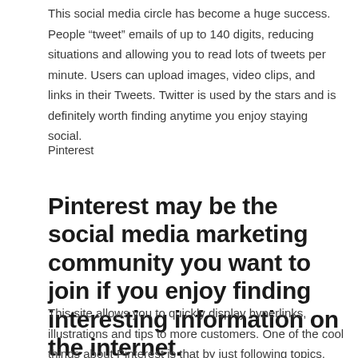This social media circle has become a huge success. People “tweet” emails of up to 140 digits, reducing situations and allowing you to read lots of tweets per minute. Users can upload images, video clips, and links in their Tweets. Twitter is used by the stars and is definitely worth finding anytime you enjoy staying social.
Pinterest
Pinterest may be the social media marketing community you want to join if you enjoy finding interesting information on the internet.
This site allows you to quickly display hyperlinks, illustrations and tips to more customers. One of the cool things about Pinterest is that by just following topics, you will be able to see Pins from people who are fundamentally not in your usage. Pinterest is the best website like Twitter that lets you choose interesting ideas